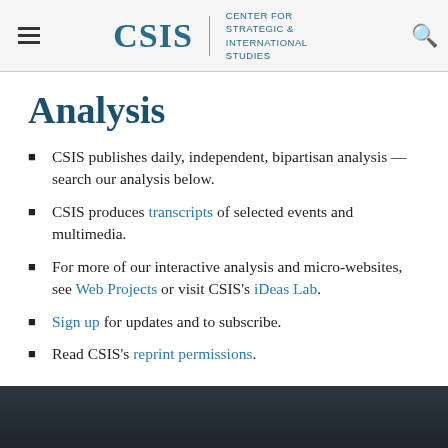CSIS | CENTER FOR STRATEGIC & INTERNATIONAL STUDIES
Analysis
CSIS publishes daily, independent, bipartisan analysis — search our analysis below.
CSIS produces transcripts of selected events and multimedia.
For more of our interactive analysis and micro-websites, see Web Projects or visit CSIS's iDeas Lab.
Sign up for updates and to subscribe.
Read CSIS's reprint permissions.